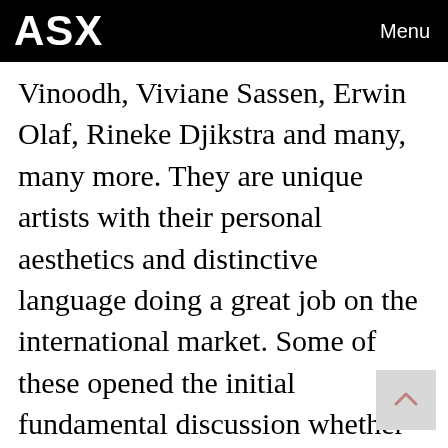ASX  Menu
Vinoodh, Viviane Sassen, Erwin Olaf, Rineke Djikstra and many, many more. They are unique artists with their personal aesthetics and distinctive language doing a great job on the international market. Some of these opened the initial fundamental discussion whether photography is art. I guess it is this history that paved the way for all these galleries and institutions in Amsterdam.